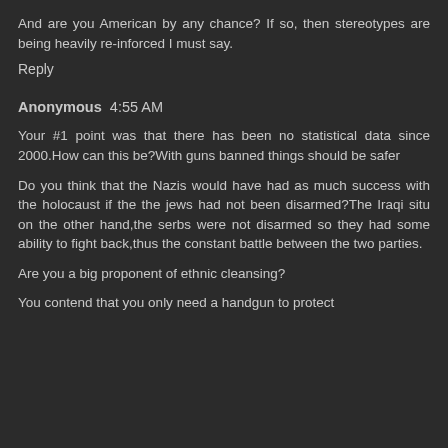And are you American by any chance? If so, then stereotypes are being heavily re-inforced I must say.
Reply
Anonymous  4:55 AM
Your #1 point was that there has been no statistical data since 2000.How can this be?With guns banned things should be safer
Do you think that the Nazis would have had as much success with the holocaust if the the jews had not been disarmed?The Iraqi situ on the other hand,the serbs were not disarmed so they had some ability to fight back,thus the constant battle between the two parties.
Are you a big proponent of ethnic cleansing?
You contend that you only need a handgun to protect